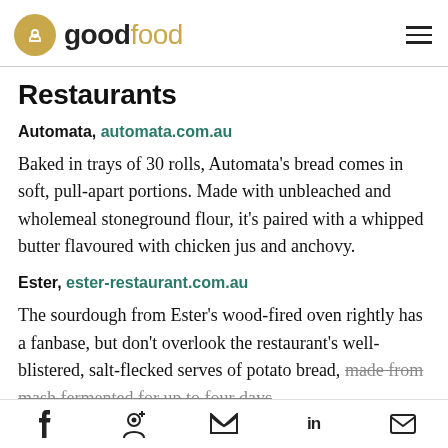good food
Restaurants
Automata, automata.com.au
Baked in trays of 30 rolls, Automata's bread comes in soft, pull-apart portions. Made with unbleached and wholemeal stoneground flour, it's paired with a whipped butter flavoured with chicken jus and anchovy.
Ester, ester-restaurant.com.au
The sourdough from Ester's wood-fired oven rightly has a fanbase, but don't overlook the restaurant's well-blistered, salt-flecked serves of potato bread, made from mash fermented for up to four days
f  p  twitter  in  mail